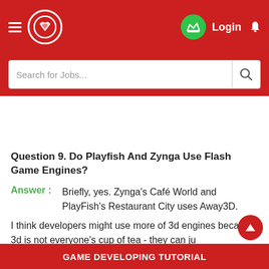Wisdomjobs header navigation with hamburger menu, logo, crown badge, Login, and bell icon
Search for Jobs...
Question 9. Do Playfish And Zynga Use Flash Game Engines?
Answer :   Briefly, yes. Zynga's Café World and PlayFish's Restaurant City uses Away3D.
I think developers might use more of 3d engines because 3d is not everyone's cup of tea - they can ju
GAME DEVELOPING TUTORIAL